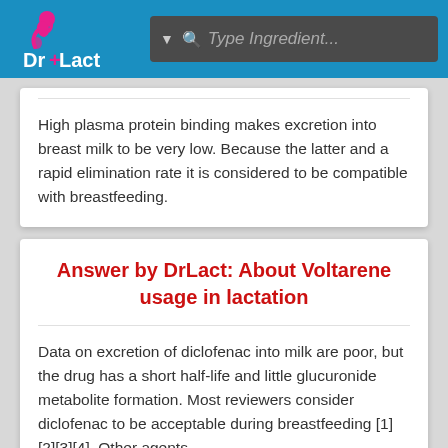Dr+Lact | Type Ingredient...
High plasma protein binding makes excretion into breast milk to be very low. Because the latter and a rapid elimination rate it is considered to be compatible with breastfeeding.
Answer by DrLact: About Voltarene usage in lactation
Data on excretion of diclofenac into milk are poor, but the drug has a short half-life and little glucuronide metabolite formation. Most reviewers consider diclofenac to be acceptable during breastfeeding [1][2][3][4]. Other agents